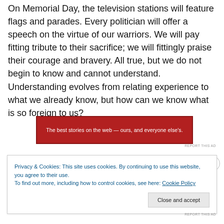On Memorial Day, the television stations will feature flags and parades. Every politician will offer a speech on the virtue of our warriors. We will pay fitting tribute to their sacrifice; we will fittingly praise their courage and bravery. All true, but we do not begin to know and cannot understand. Understanding evolves from relating experience to what we already know, but how can we know what is so foreign to us?
[Figure (other): Red advertisement banner with white text: 'The best stories on the web — ours, and everyone else's.']
REPORT THIS AD
Privacy & Cookies: This site uses cookies. By continuing to use this website, you agree to their use.
To find out more, including how to control cookies, see here: Cookie Policy
Close and accept